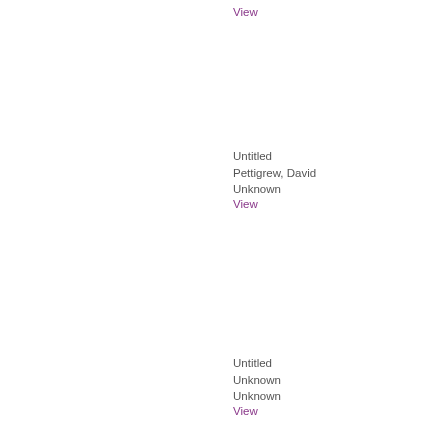View
Untitled
Pettigrew, David
Unknown
View
Untitled
Unknown
Unknown
View